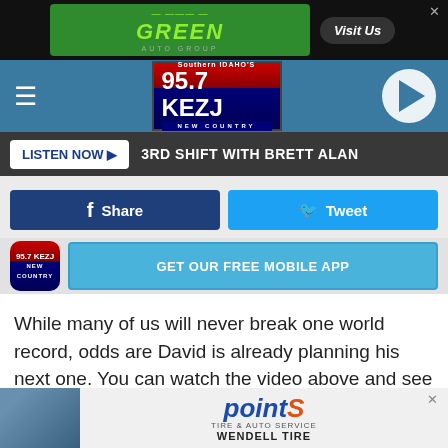[Figure (screenshot): Green Auto Group advertisement banner with 'Visit Us' button and close X]
[Figure (logo): 95.7 KEZJ Southern Idaho's New Country radio station logo with play button and hamburger menu]
LISTEN NOW ▶  3RD SHIFT WITH BRETT ALAN
[Figure (screenshot): Facebook Share and Twitter Tweet social share buttons]
[Figure (screenshot): 95.7 KEZJ app icon with GET OUR FREE MOBILE APP button]
While many of us will never break one world record, odds are David is already planning his next one. You can watch the video above and see his technique in wrapping his niece. Grab some newspaper and practice, and you may be able to beat his record one day. If you can't break that one, then find
[Figure (screenshot): Point S Tire & Auto Service / Wendell Tire advertisement banner at bottom]